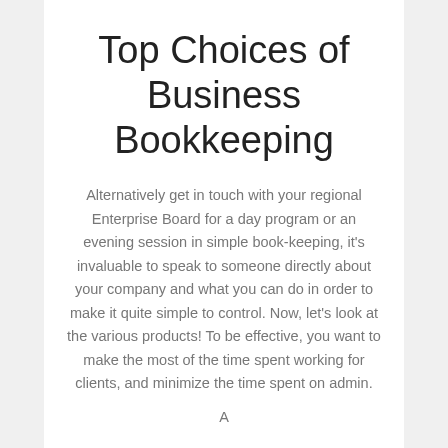Top Choices of Business Bookkeeping
Alternatively get in touch with your regional Enterprise Board for a day program or an evening session in simple book-keeping, it's invaluable to speak to someone directly about your company and what you can do in order to make it quite simple to control. Now, let's look at the various products! To be effective, you want to make the most of the time spent working for clients, and minimize the time spent on admin.
A secondary text that is partially cut off at the bottom of the page.